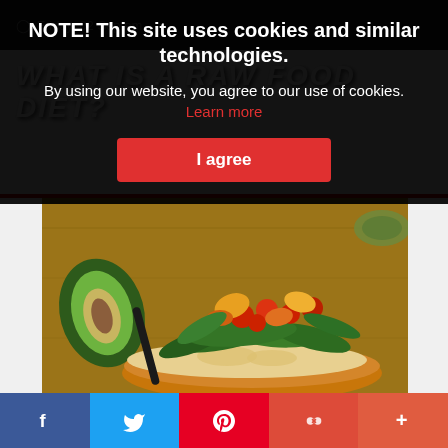Friday, 02 September
WHAT IS A RAW FOOD DIET?
NOTE! This site uses cookies and similar technologies. By using our website, you agree to our use of cookies. Learn more
[Figure (other): Cookie consent overlay with I agree button]
[Figure (photo): Open-faced sandwich topped with spinach leaves, cherry tomatoes, yellow peppers, roasted vegetables on bread with hummus, with halved avocado on wooden board]
Raw food is food that is uncooked and unprocessed. It still contains important enzymes which assist in the
Social share bar: Facebook, Twitter, Pinterest, Google+, More